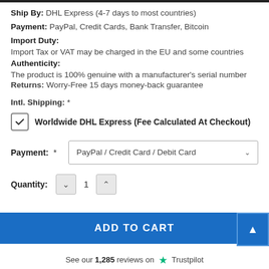Ship By: DHL Express (4-7 days to most countries)
Payment: PayPal, Credit Cards, Bank Transfer, Bitcoin
Import Duty:
Import Tax or VAT may be charged in the EU and some countries
Authenticity:
The product is 100% genuine with a manufacturer's serial number
Returns: Worry-Free 15 days money-back guarantee
Intl. Shipping: *
Worldwide DHL Express (Fee Calculated At Checkout)
Payment: * PayPal / Credit Card / Debit Card
Quantity: 1
ADD TO CART
See our 1,285 reviews on Trustpilot